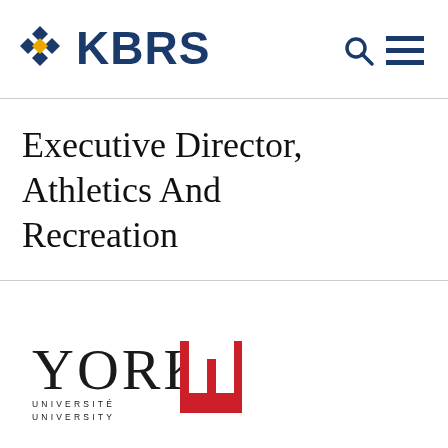KBRS
Executive Director, Athletics And Recreation
[Figure (logo): York University logo with red U graphic mark and wordmark reading YORK UNIVERSITÉ UNIVERSITY]